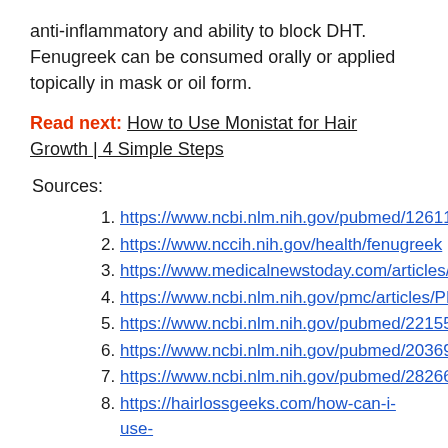anti-inflammatory and ability to block DHT. Fenugreek can be consumed orally or applied topically in mask or oil form.
Read next: How to Use Monistat for Hair Growth | 4 Simple Steps
Sources:
https://www.ncbi.nlm.nih.gov/pubmed/12611...
https://www.nccih.nih.gov/health/fenugreek
https://www.medicalnewstoday.com/articles/...
https://www.ncbi.nlm.nih.gov/pmc/articles/PM...
https://www.ncbi.nlm.nih.gov/pubmed/22155...
https://www.ncbi.nlm.nih.gov/pubmed/20369...
https://www.ncbi.nlm.nih.gov/pubmed/28266...
https://hairlossgeeks.com/how-can-i-use-fenugreek-oil-for-hair-at-home/